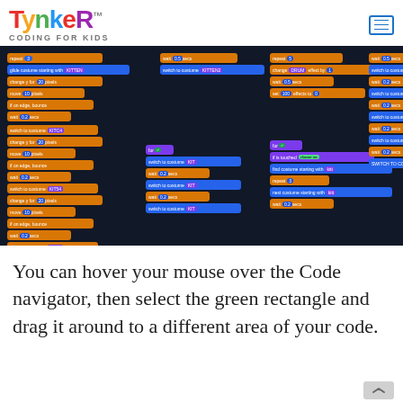[Figure (logo): Tynker logo with colorful letters and 'CODING FOR KIDS' tagline]
[Figure (screenshot): Screenshot of Tynker block-based coding interface showing multiple groups of orange and purple code blocks on a dark background]
You can hover your mouse over the Code navigator, then select the green rectangle and drag it around to a different area of your code.